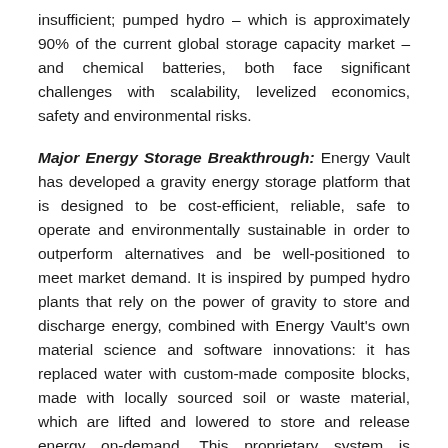insufficient; pumped hydro – which is approximately 90% of the current global storage capacity market – and chemical batteries, both face significant challenges with scalability, levelized economics, safety and environmental risks.
Major Energy Storage Breakthrough: Energy Vault has developed a gravity energy storage platform that is designed to be cost-efficient, reliable, safe to operate and environmentally sustainable in order to outperform alternatives and be well-positioned to meet market demand. It is inspired by pumped hydro plants that rely on the power of gravity to store and discharge energy, combined with Energy Vault's own material science and software innovations: it has replaced water with custom-made composite blocks, made with locally sourced soil or waste material, which are lifted and lowered to store and release energy on-demand. This proprietary system is orchestrated by Energy Vault's AI-enabled software platform that incorporates